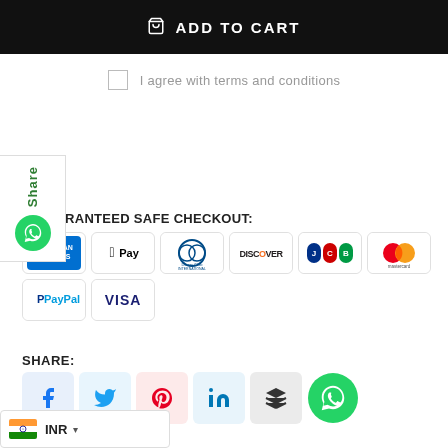ADD TO CART
I agree with terms and conditions
GUARANTEED SAFE CHECKOUT:
[Figure (logo): Payment method logos: American Express, Apple Pay, Diners Club International, Discover, JCB, Mastercard, PayPal, Visa]
SHARE:
[Figure (infographic): Social share buttons: Facebook, Twitter, Pinterest, LinkedIn, Buffer, WhatsApp]
INR